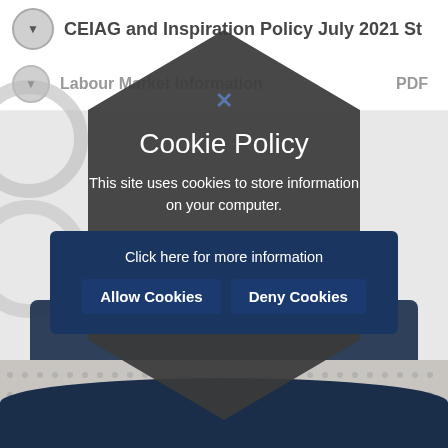CEIAG and Inspiration Policy July 2021 St
Labour Market Information   PDF
[Figure (screenshot): Cookie policy modal overlay on a website page. The modal has a dark hexagonal/rounded shape with white text showing 'Cookie Policy', 'This site uses cookies to store information on your computer.', 'Click here for more information', and two dark blue buttons: 'Allow Cookies' and 'Deny Cookies'. Behind the modal is a webpage with navigation elements, a dark navy card section, and a dotted background pattern.]